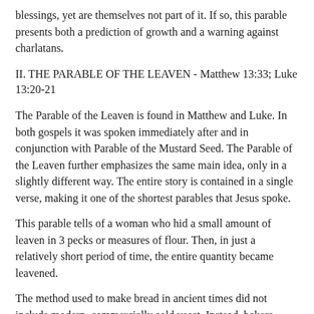blessings, yet are themselves not part of it. If so, this parable presents both a prediction of growth and a warning against charlatans.
II. THE PARABLE OF THE LEAVEN - Matthew 13:33; Luke 13:20-21
The Parable of the Leaven is found in Matthew and Luke. In both gospels it was spoken immediately after and in conjunction with Parable of the Mustard Seed. The Parable of the Leaven further emphasizes the same main idea, only in a slightly different way. The entire story is contained in a single verse, making it one of the shortest parables that Jesus spoke.
This parable tells of a woman who hid a small amount of leaven in 3 pecks or measures of flour. Then, in just a relatively short period of time, the entire quantity became leavened.
The method used to make bread in ancient times did not include modern, commercially sold yeast. Instead, bakers would make and keep cultures of bacteria and wild yeast called leaven to be used again and again. Small amounts of this fermented dough would be